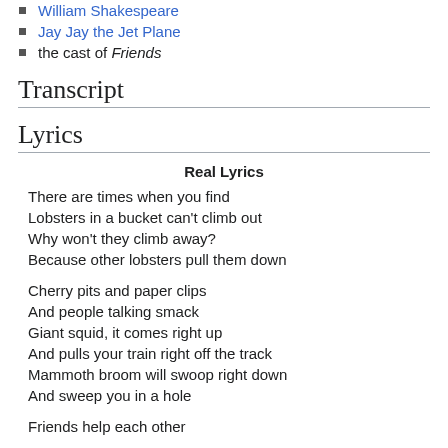William Shakespeare
Jay Jay the Jet Plane
the cast of Friends
Transcript
Lyrics
Real Lyrics
There are times when you find
Lobsters in a bucket can't climb out
Why won't they climb away?
Because other lobsters pull them down
Cherry pits and paper clips
And people talking smack
Giant squid, it comes right up
And pulls your train right off the track
Mammoth broom will swoop right down
And sweep you in a hole
Friends help each other